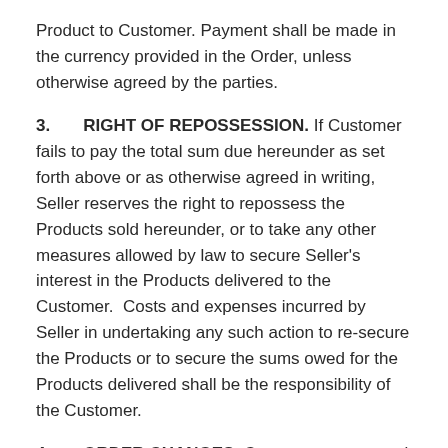Product to Customer. Payment shall be made in the currency provided in the Order, unless otherwise agreed by the parties.
3. RIGHT OF REPOSSESSION. If Customer fails to pay the total sum due hereunder as set forth above or as otherwise agreed in writing, Seller reserves the right to repossess the Products sold hereunder, or to take any other measures allowed by law to secure Seller’s interest in the Products delivered to the Customer. Costs and expenses incurred by Seller in undertaking any such action to re-secure the Products or to secure the sums owed for the Products delivered shall be the responsibility of the Customer.
4. ORDER CHANGES. Customer may cancel an Order or modify the delivery dates, quantities, specifications, or other terms of an Order, only